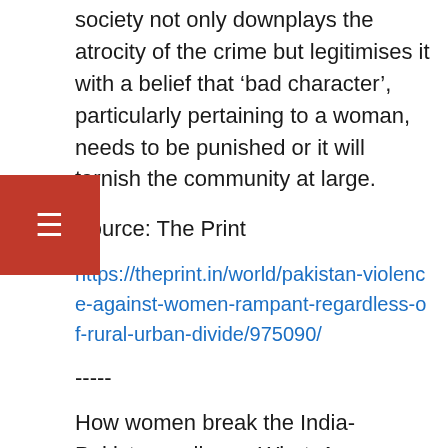society not only downplays the atrocity of the crime but legitimises it with a belief that ‘bad character’, particularly pertaining to a woman, needs to be punished or it will tarnish the community at large.
Source: The Print
https://theprint.in/world/pakistan-violence-against-women-rampant-regardless-of-rural-urban-divide/975090/
-----
How women break the India-Pakistan wall over WhatsApp, biryani & banoffee pie in Dubai
SAADIA AHMED